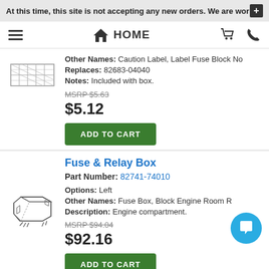At this time, this site is not accepting any new orders. We are wor
[Figure (other): Navigation bar with hamburger menu, HOME icon/text, shopping cart and phone icons]
[Figure (other): Product thumbnail image of a caution/fuse label]
Other Names: Caution Label, Label Fuse Block No
Replaces: 82683-04040
Notes: Included with box.
MSRP $5.63
$5.12
ADD TO CART
Fuse & Relay Box
Part Number: 82741-74010
[Figure (illustration): Product image of a Fuse & Relay Box auto part]
Options: Left
Other Names: Fuse Box, Block Engine Room R
Description: Engine compartment.
MSRP $94.04
$92.16